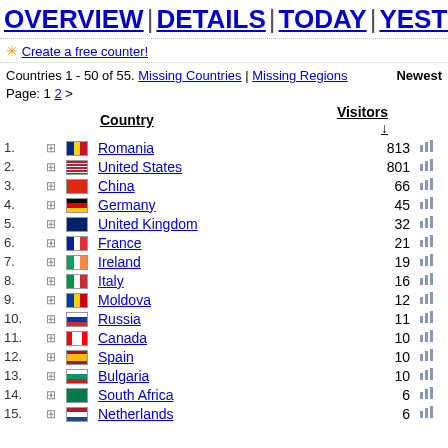OVERVIEW | DETAILS | TODAY | YESTERDAY
✳ Create a free counter!
Countries 1 - 50 of 55. Missing Countries | Missing Regions   Newest
Page: 1 2 >
|  |  |  | Country | Visitors |  |
| --- | --- | --- | --- | --- | --- |
| 1. | + | [RO] | Romania | 813 | chart |
| 2. | + | [US] | United States | 801 | chart |
| 3. | + | [CN] | China | 66 | chart |
| 4. | + | [DE] | Germany | 45 | chart |
| 5. | + | [GB] | United Kingdom | 32 | chart |
| 6. | + | [FR] | France | 21 | chart |
| 7. | + | [IE] | Ireland | 19 | chart |
| 8. | + | [IT] | Italy | 16 | chart |
| 9. | + | [MD] | Moldova | 12 | chart |
| 10. | + | [RU] | Russia | 11 | chart |
| 11. | + | [CA] | Canada | 10 | chart |
| 12. | + | [ES] | Spain | 10 | chart |
| 13. | + | [BG] | Bulgaria | 10 | chart |
| 14. | + | [ZA] | South Africa | 6 | chart |
| 15. | + | [NL] | Netherlands | 6 | chart |